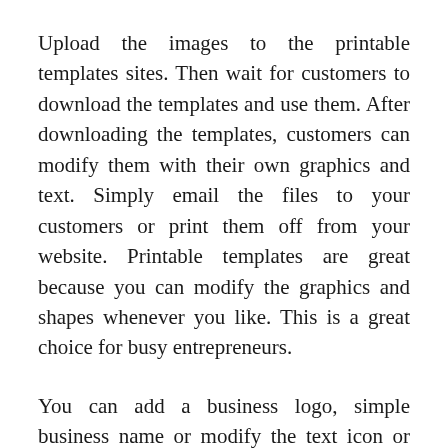Upload the images to the printable templates sites. Then wait for customers to download the templates and use them. After downloading the templates, customers can modify them with their own graphics and text. Simply email the files to your customers or print them off from your website. Printable templates are great because you can modify the graphics and shapes whenever you like. This is a great choice for busy entrepreneurs.
You can add a business logo, simple business name or modify the text icon or image to meet your needs. You can change the colors, fonts, links, and other details at any point. These templates can be used to save time and money. You can print ready made business cards or